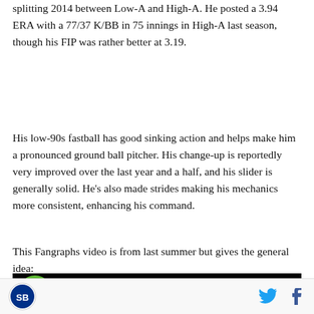splitting 2014 between Low-A and High-A. He posted a 3.94 ERA with a 77/37 K/BB in 75 innings in High-A last season, though his FIP was rather better at 3.19.
His low-90s fastball has good sinking action and helps make him a pronounced ground ball pitcher. His change-up is reportedly very improved over the last year and a half, and his slider is generally solid. He's also made strides making his mechanics more consistent, enhancing his command.
This Fangraphs video is from last summer but gives the general idea:
[Figure (screenshot): Video thumbnail showing Blake Snell, LHP, Tampa Bay Rays on black background with Fangraphs green logo]
SB Nation logo | Twitter icon | Facebook icon